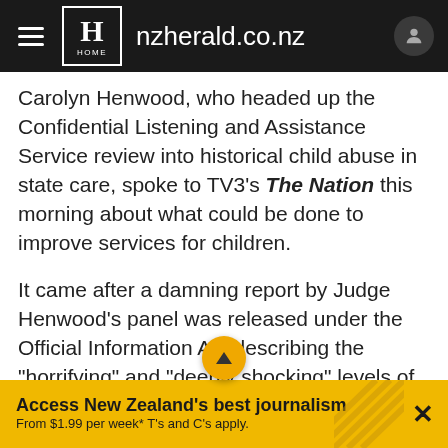[Figure (screenshot): NZ Herald website navigation bar with hamburger menu, logo with H and HOME text, site name nzheralld.co.nz, and user profile icon]
Carolyn Henwood, who headed up the Confidential Listening and Assistance Service review into historical child abuse in state care, spoke to TV3's The Nation this morning about what could be done to improve services for children.
It came after a damning report by Judge Henwood's panel was released under the Official Information Act describing the "horrifying" and "deeply shocking" levels of abuse in state institutions prior to 1992, and Mr Wills' published a report on the "bleak" state of Child, Youth and Family care.
Access New Zealand's best journalism From $1.99 per week* T's and C's apply.